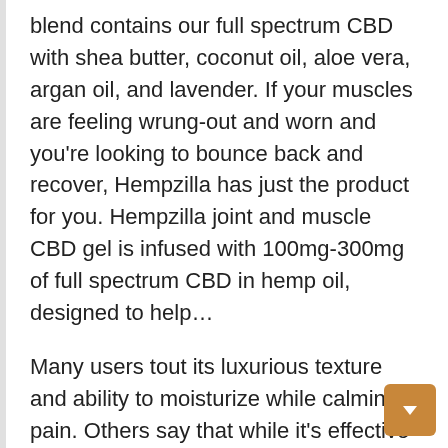blend contains our full spectrum CBD with shea butter, coconut oil, aloe vera, argan oil, and lavender. If your muscles are feeling wrung-out and worn and you're looking to bounce back and recover, Hempzilla has just the product for you. Hempzilla joint and muscle CBD gel is infused with 100mg-300mg of full spectrum CBD in hemp oil, designed to help…
Many users tout its luxurious texture and ability to moisturize while calming pain. Others say that while it's effective at soothing aches and pains, its cooling effect is less icy than they hoped. We aim to provide you with effective and natural CBD products that can be simply incorporated into your self-care routine. Comes in a super, convenient roll-on applicator that